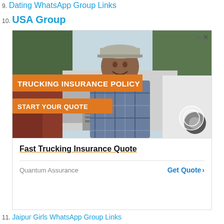9. Dating WhatsApp Group Links
10. USA Group
[Figure (photo): Advertisement image showing a smiling man in a plaid shirt and cap standing in front of trucks. Orange banner overlays read 'TRUCKING INSURANCE POLICY' and 'START YOUR QUOTE'.]
Fast Trucking Insurance Quote
Quantum Assurance   Get Quote >
11. Jaipur Girls WhatsApp Group Links
12. Joining Links